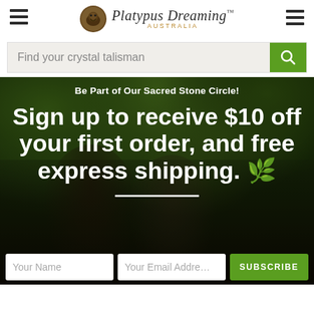Platypus Dreaming AUSTRALIA
Find your crystal talisman
Be Part of Our Sacred Stone Circle!
Sign up to receive $10 off your first order, and free express shipping. 🌿
[Figure (photo): Background photo of a couple in a lush green leafy outdoor setting, with dark overlay and promotional text overlay]
Your Name | Your Email Address | SUBSCRIBE